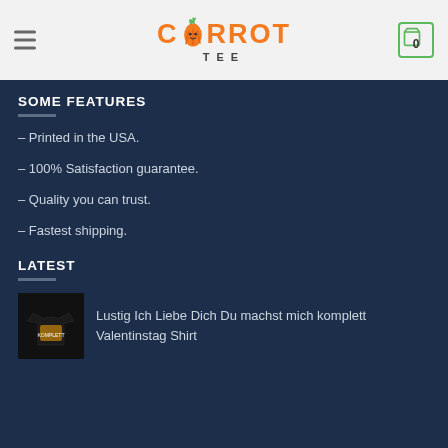CARROT TEE — navigation header with hamburger menu and cart icon showing 0
SOME FEATURES
– Printed in the USA.
– 100% Satisfaction guarantee.
– Quality you can trust.
– Fastest shipping.
LATEST
Lustig Ich Liebe Dich Du machst mich komplett Valentinstag Shirt